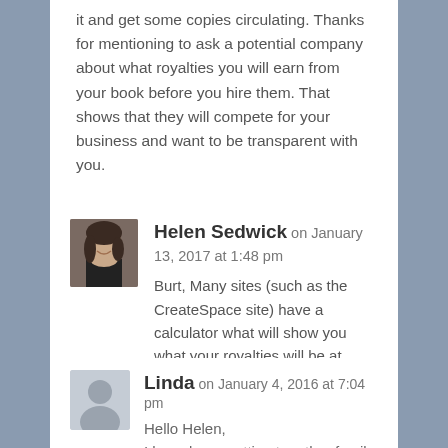it and get some copies circulating. Thanks for mentioning to ask a potential company about what royalties you will earn from your book before you hire them. That shows that they will compete for your business and want to be transparent with you.
Helen Sedwick on January 13, 2017 at 1:48 pm
[Figure (photo): Profile photo of Helen Sedwick — woman with dark hair smiling]
Burt, Many sites (such as the CreateSpace site) have a calculator what will show you what your royalties will be at different retail prices. That's so helpful.
Linda on January 4, 2016 at 7:04 pm
[Figure (illustration): Generic user avatar silhouette in grey]
Hello Helen,
I have been putting together family books